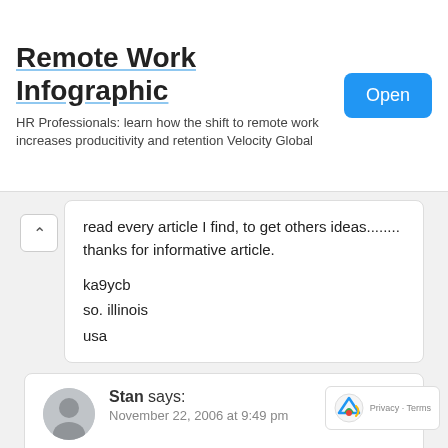[Figure (infographic): Advertisement banner for Remote Work Infographic with Open button]
read every article I find, to get others ideas........ thanks for informative article.

ka9ycb
so. illinois
usa
Stan says:
November 22, 2006 at 9:49 pm

I built a 32 inch loop that sits in my attic. It has been very successful on 20 meters. I live in a condo and it is the only antenna I can use. I add a multiturn pot to the motor driving the vacuum variable. It provides an indication of the loops' frequency in the shack. Some fine tuning is